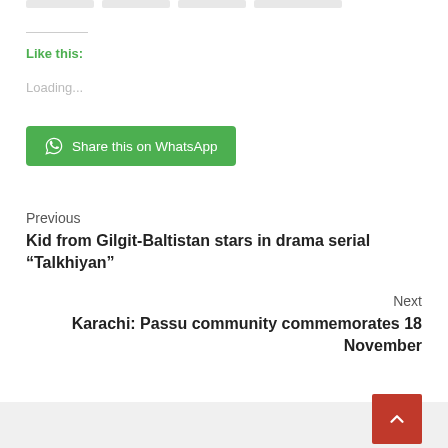Like this:
Loading...
[Figure (other): Green WhatsApp share button with WhatsApp logo icon and text 'Share this on WhatsApp']
Previous
Kid from Gilgit-Baltistan stars in drama serial “Talkhiyan”
Next
Karachi: Passu community commemorates 18 November
[Figure (other): Red scroll-to-top button with white upward chevron arrow]